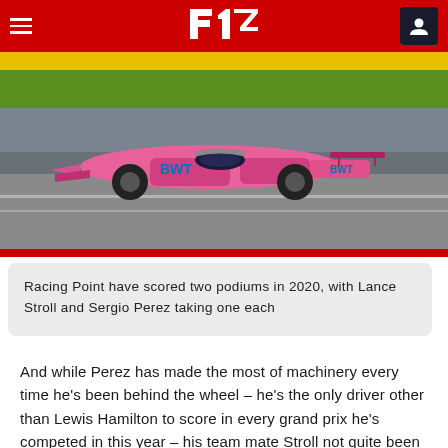F1 Navigation Bar
[Figure (photo): A pink BWT Racing Point Formula 1 car on track, with green grass and grey tarmac in the background, featuring BWT sponsorship livery]
Racing Point have scored two podiums in 2020, with Lance Stroll and Sergio Perez taking one each
And while Perez has made the most of machinery every time he's been behind the wheel – he's the only driver other than Lewis Hamilton to score in every grand prix he's competed in this year – his team mate Stroll not quite been able to manage the same level of consistency, though at least part of that has been down to reliability issues with the car.